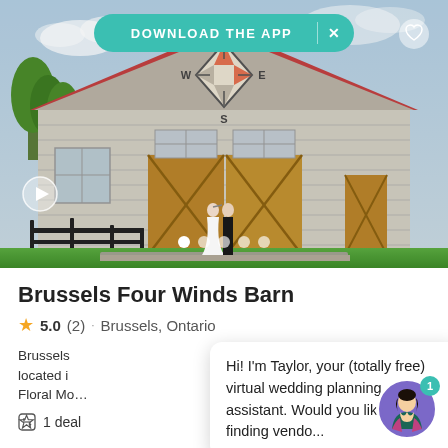[Figure (photo): A rustic white wooden barn wedding venue with a compass rose quilt pattern on the gable. A couple in wedding attire stands in front of large wooden barn doors. Black split-rail fence on the left side. Green trees and lawn visible. Navigation compass symbol with N, S, E, W letters on the barn face.]
DOWNLOAD THE APP
Brussels Four Winds Barn
5.0 (2) · Brussels, Ontario
Brussels [venue description text partially obscured] ue located i[n...] yan and Floral Mo[...]
Hi! I'm Taylor, your (totally free) virtual wedding planning assistant. Would you like help finding vendo...
1 deal